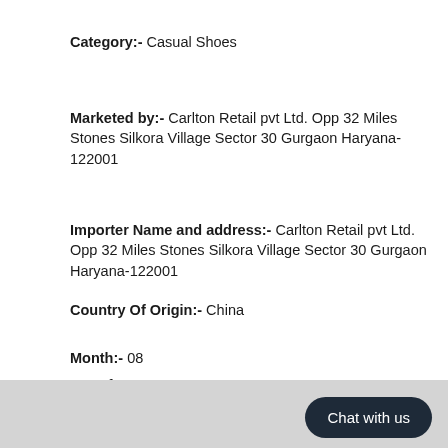Category:- Casual Shoes
Marketed by:- Carlton Retail pvt Ltd. Opp 32 Miles Stones Silkora Village Sector 30 Gurgaon Haryana-122001
Importer Name and address:- Carlton Retail pvt Ltd. Opp 32 Miles Stones Silkora Village Sector 30 Gurgaon Haryana-122001
Country Of Origin:- China
Month:- 08
Manufacture Year:- 2020